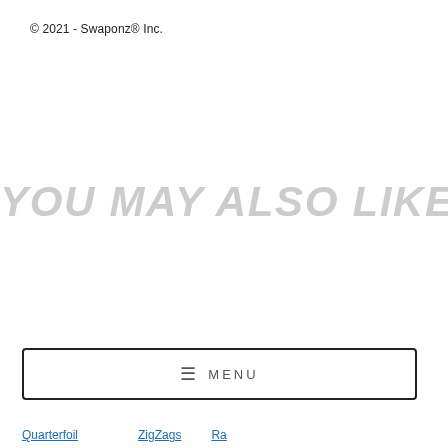© 2021 - Swaponz® Inc.
YOU MAY ALSO LIKE
≡  MENU
Quarterfoil    ZigZags    Ra